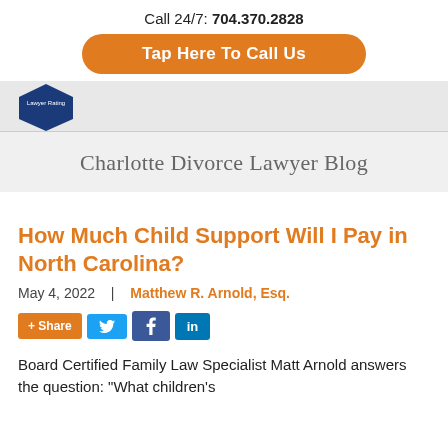Call 24/7: 704.370.2828
Tap Here To Call Us
[Figure (logo): Diamond-shaped blue badge with text 'Lawyer Rating']
Charlotte Divorce Lawyer Blog
How Much Child Support Will I Pay in North Carolina?
May 4, 2022  |  Matthew R. Arnold, Esq.
[Figure (infographic): Social share buttons: + Share (orange), Twitter bird (blue), Facebook f (dark blue), LinkedIn in (blue)]
Board Certified Family Law Specialist Matt Arnold answers the question: "What children's